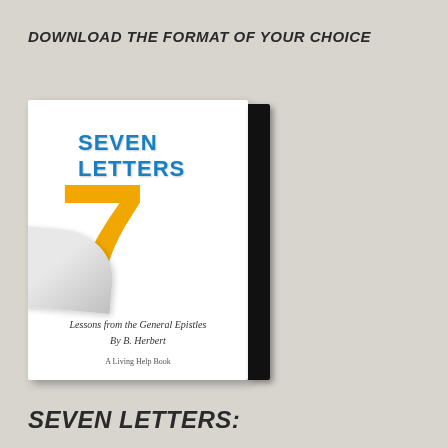DOWNLOAD THE FORMAT OF YOUR CHOICE
[Figure (illustration): Book cover for 'Seven Letters: Lessons from the General Epistles by B. Herbert, A Living Help Book'. Cover shows large orange/gold number 7 with a curled page, title in blue text, and book spine visible on the right.]
SEVEN LETTERS: